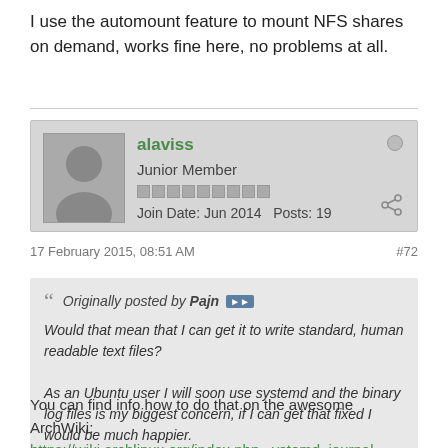I use the automount feature to mount NFS shares on demand, works fine here, no problems at all.
alaviss
Junior Member
Join Date: Jun 2014  Posts: 19
17 February 2015, 08:51 AM  #72
Originally posted by Pajn
Would that mean that I can get it to write standard, human readable text files?

As an Ubuntu user I will soon use systemd and the binary log files is my biggest concern, if I can get that fixed I would be much happier.
You can find info how to do that on the awesome ArchWiki:
https://wiki.archlinux.org/index.php...ystemd_journal